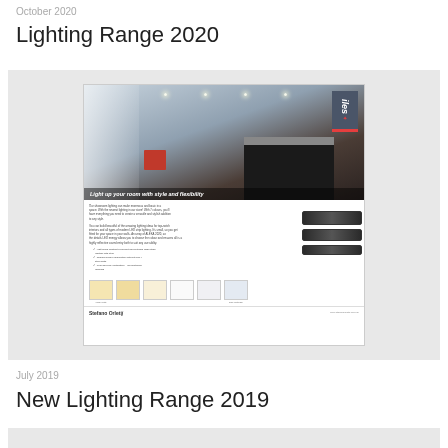October 2020
Lighting Range 2020
[Figure (illustration): Thumbnail of a lighting product brochure showing an interior room with recessed lighting, curtains, kitchen, LED strip images, color swatches, and Stefano Orletij branding. Tagline: 'Light up your room with style and flexibility']
July 2019
New Lighting Range 2019